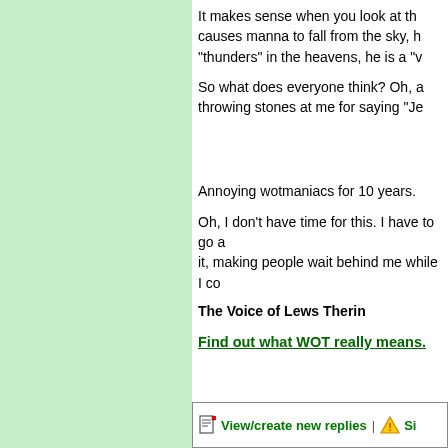It makes sense when you look at the causes manna to fall from the sky, h "thunders" in the heavens, he is a "v
So what does everyone think? Oh, a throwing stones at me for saying "Je
Annoying wotmaniacs for 10 years.
Oh, I don't have time for this. I have to go a it, making people wait behind me while I co
The Voice of Lews Therin
Find out what WOT really means.
View/create new replies | Si